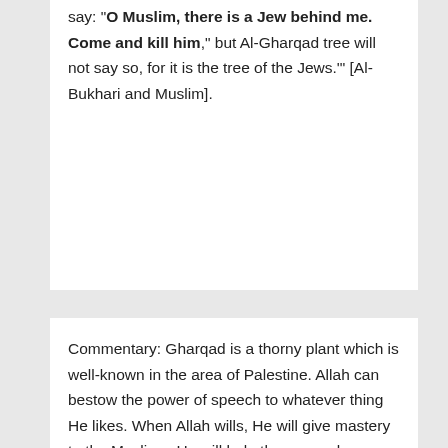say: "O Muslim, there is a Jew behind me. Come and kill him," but Al-Gharqad tree will not say so, for it is the tree of the Jews.'" [Al-Bukhari and Muslim].
Commentary: Gharqad is a thorny plant which is well-known in the area of Palestine. Allah can bestow the power of speech to whatever thing He likes. When Allah wills, He will give mastery to the Muslims. He will help them even by means of plants and stones which will assist the Muslims against the Jews by informing them about the whereabouts of the Jews. The Jews have predominance over the Muslims in spite of the fact that they are a minority. But according to this